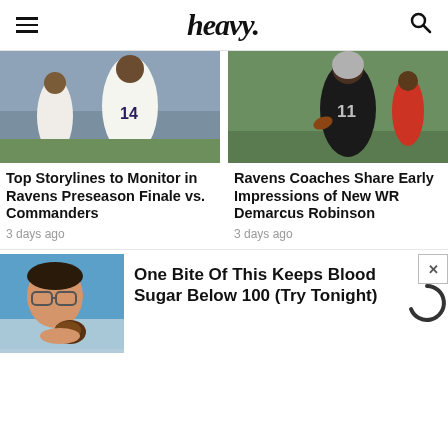heavy.
[Figure (photo): NFL wide receiver wearing Baltimore Ravens white #14 jersey running during a game]
[Figure (photo): NFL wide receiver wearing Las Vegas Raiders black #11 jersey running with football during a game]
Top Storylines to Monitor in Ravens Preseason Finale vs. Commanders
3 days ago
Ravens Coaches Share Early Impressions of New WR Demarcus Robinson
3 days ago
[Figure (photo): Person holding a dark food item against blue background]
One Bite Of This Keeps Blood Sugar Below 100 (Try Tonight)